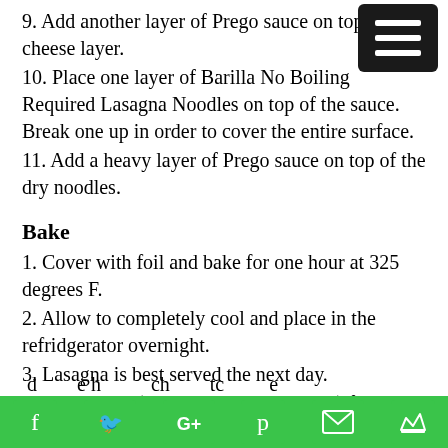9. Add another layer of Prego sauce on top of the cheese layer.
10. Place one layer of Barilla No Boiling Required Lasagna Noodles on top of the sauce. Break one up in order to cover the entire surface.
11. Add a heavy layer of Prego sauce on top of the dry noodles.
Bake
1. Cover with foil and bake for one hour at 325 degrees F.
2. Allow to completely cool and place in the refridgerator overnight.
3. Lasagna is best served the next day.
4. Bake again (or microwave as needed) for one hour at 325 degrees F.
Social share bar with icons: f, Twitter, G+, Pinterest, email, crown